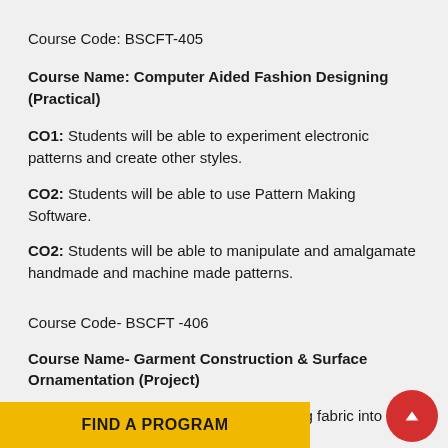Course Code: BSCFT-405
Course Name: Computer Aided Fashion Designing (Practical)
CO1: Students will be able to experiment electronic patterns and create other styles.
CO2: Students will be able to use Pattern Making Software.
CO2: Students will be able to manipulate and amalgamate handmade and machine made patterns.
Course Code- BSCFT -406
Course Name- Garment Construction & Surface Ornamentation (Project)
CO1: To make able students for converting fabric into se
FIND A PROGRAM